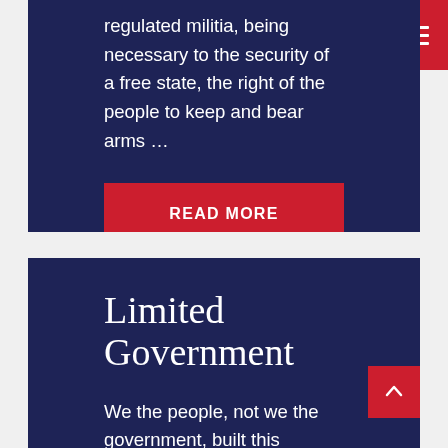regulated militia, being necessary to the security of a free state, the right of the people to keep and bear arms …
READ MORE
Limited Government
We the people, not we the government, built this country. Belief in the individual is what made this country great and free. We each play a part in keeping the …